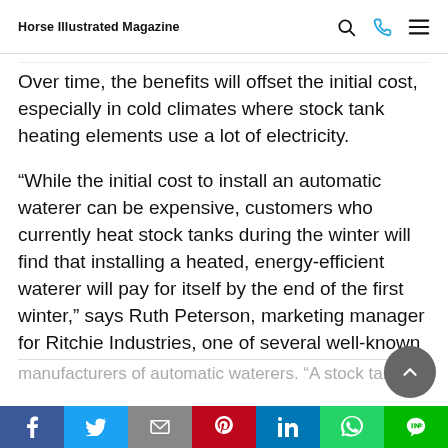Horse Illustrated Magazine
Over time, the benefits will offset the initial cost, especially in cold climates where stock tank heating elements use a lot of electricity.
“While the initial cost to install an automatic waterer can be expensive, customers who currently heat stock tanks during the winter will find that installing a heated, energy-efficient waterer will pay for itself by the end of the first winter,” says Ruth Peterson, marketing manager for Ritchie Industries, one of several well-known manufacturers of automatic waterers. “A stock tank
Share buttons: Facebook, Twitter, Email, Pinterest, LinkedIn, WhatsApp, LINE